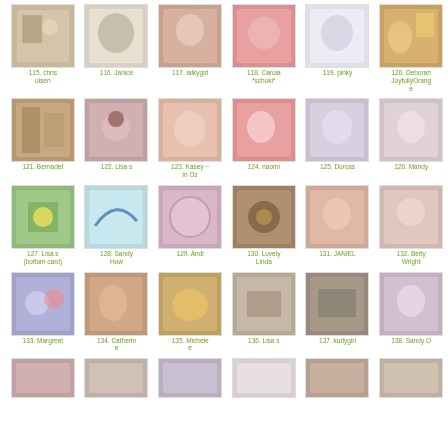115. chris olsen
116. Janice
117. lalkygirl
118. Carola *schoki*
119. pinky
120. Deborah JoyfullyOrange
121. Bernadet
122. Lisa s
123. Kasey ~ in Oz
124. naomi
125. Dorcas
126. Mandy
127. Lisa s (bottom card)
128. Sandy How
129. Andi
130. Lovely Linda
131. JANIEL
132. Betty Wright
133. Margreet
134. Catherine
135. Michele e
136. Lisa s
137. kurlygirl
138. Sandy O